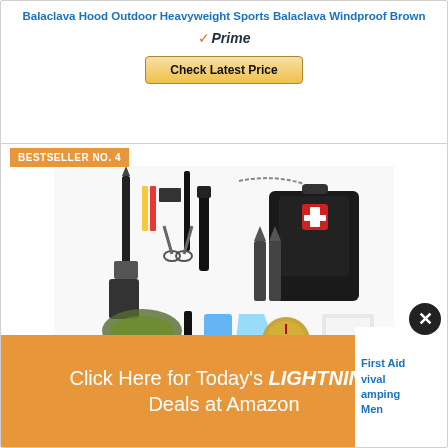Balaclava Hood Outdoor Heavyweight Sports Balaclava Windproof Brown
[Figure (logo): Amazon Prime badge with orange checkmark and Prime text]
Check Latest Price
BESTSELLER NO. 4
[Figure (photo): Survival kit with various tools including knife, scissors, flashlight, first aid kit, pliers, compass, paracord bracelet, emergency poncho, and other survival gear laid out on white background]
Click Here for Today's LIGHTNING Deals at Amazon
First Aid vival amping Men